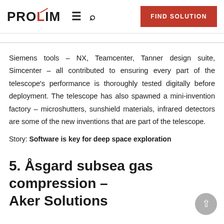PROLIM | FIND SOLUTION
Siemens tools – NX, Teamcenter, Tanner design suite, Simcenter – all contributed to ensuring every part of the telescope's performance is thoroughly tested digitally before deployment. The telescope has also spawned a mini-invention factory – microshutters, sunshield materials, infrared detectors are some of the new inventions that are part of the telescope.
Story: Software is key for deep space exploration
5. Åsgard subsea gas compression – Aker Solutions